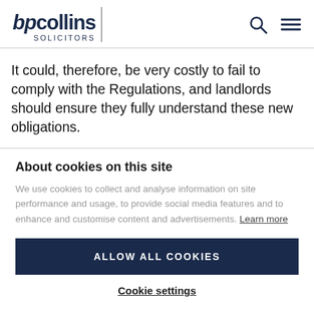bpcollins SOLICITORS
It could, therefore, be very costly to fail to comply with the Regulations, and landlords should ensure they fully understand these new obligations.
About cookies on this site
We use cookies to collect and analyse information on site performance and usage, to provide social media features and to enhance and customise content and advertisements. Learn more
ALLOW ALL COOKIES
Cookie settings